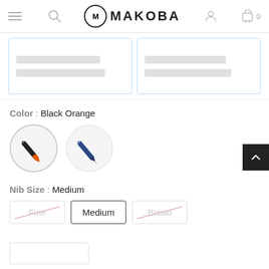MAKOBA — navigation header with hamburger, search, logo, account, cart icons
[Figure (screenshot): Two product card placeholders with light blue borders and grey loading bars]
Color : Black Orange
[Figure (illustration): Two circular color swatches: first shows a black and orange pen (selected), second shows a dark blue pen]
Nib Size : Medium
[Figure (screenshot): Three nib size buttons: Fine (crossed out, unavailable), Medium (selected, black border), Broad (crossed out, unavailable)]
[Figure (screenshot): Bottom partial card placeholder with border]